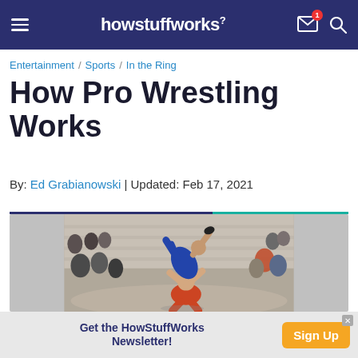howstuffworks
Entertainment / Sports / In the Ring
How Pro Wrestling Works
By: Ed Grabianowski | Updated: Feb 17, 2021
[Figure (photo): Two wrestlers grappling, one lifting the other overhead during a wrestling match in an indoor arena with spectators in the background.]
Get the HowStuffWorks Newsletter! Sign Up